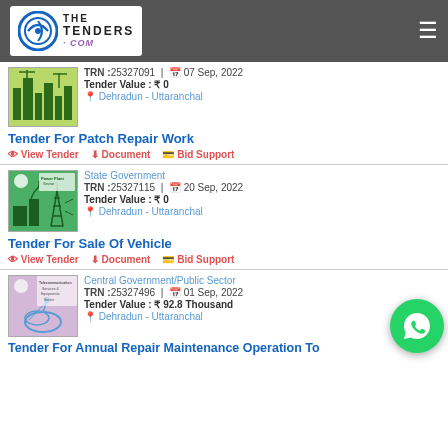The Tenders .com
TRN :25327091 | 07 Sep, 2022 | Tender Value : ₹ 0 | Dehradun - Uttaranchal
Tender For Patch Repair Work
View Tender | Document | Bid Support
State Government | TRN :25327115 | 20 Sep, 2022 | Tender Value : ₹ 0 | Dehradun - Uttaranchal
Tender For Sale Of Vehicle
View Tender | Document | Bid Support
Central Government/Public Sector | TRN :25327496 | 01 Sep, 2022 | Tender Value : ₹ 92.8 Thousand | Dehradun - Uttaranchal
Tender For Annual Repair Maintenance Operation To ...